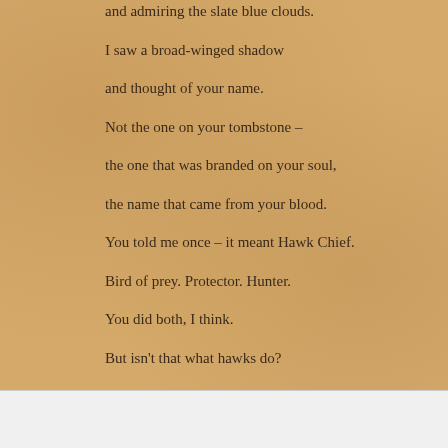and admiring the slate blue clouds.

I saw a broad-winged shadow

and thought of your name.

Not the one on your tombstone –

the one that was branded on your soul,

the name that came from your blood.

You told me once – it meant Hawk Chief.

Bird of prey. Protector. Hunter.

You did both, I think.

But isn't that what hawks do?
Follow ...